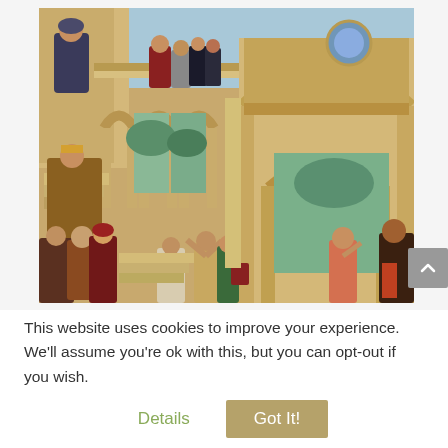[Figure (illustration): A Renaissance or Flemish old master painting depicting a grand classical architectural scene with arches and columns. Figures in historical/biblical dress are arranged across multiple levels — a robed figure at upper left on a balcony, a seated king or judge on a throne at left, and a crowd of people in the foreground including women and men in colorful robes. The background reveals a landscape through the archways.]
This website uses cookies to improve your experience. We'll assume you're ok with this, but you can opt-out if you wish.
Details
Got It!